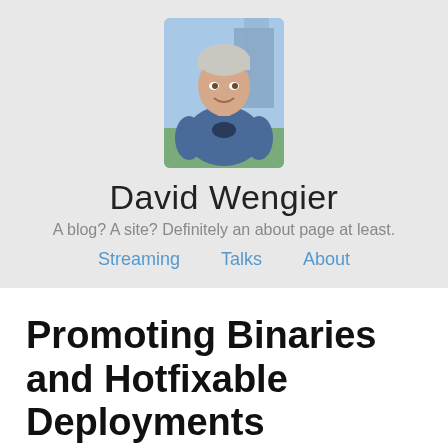[Figure (photo): Profile photo of David Wengier, a man in a blue Batman t-shirt, outdoors]
David Wengier
A blog? A site? Definitely an about page at least.
Streaming   Talks   About
Promoting Binaries and Hotfixable Deployments
There are a two different schools of thought when it comes to deploying to production environments. Well okay, we're developers, so there are probably 100 different schools of thought but bear with me. One option is to promote the same binaries from testing, through staging, and all the way to